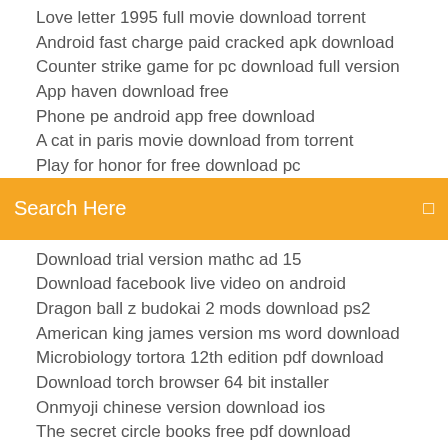Love letter 1995 full movie download torrent
Android fast charge paid cracked apk download
Counter strike game for pc download full version
App haven download free
Phone pe android app free download
A cat in paris movie download from torrent
Play for honor for free download pc
[Figure (screenshot): Orange search bar with text 'Search Here' and a small icon on the right]
Download trial version mathc ad 15
Download facebook live video on android
Dragon ball z budokai 2 mods download ps2
American king james version ms word download
Microbiology tortora 12th edition pdf download
Download torch browser 64 bit installer
Onmyoji chinese version download ios
The secret circle books free pdf download
You gi oh gx torrent download
Ps4 jailbreak 6.51 download free